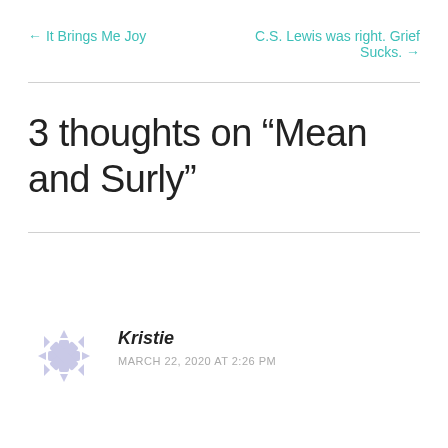← It Brings Me Joy
C.S. Lewis was right. Grief Sucks. →
3 thoughts on “Mean and Surly”
Kristie
MARCH 22, 2020 AT 2:26 PM